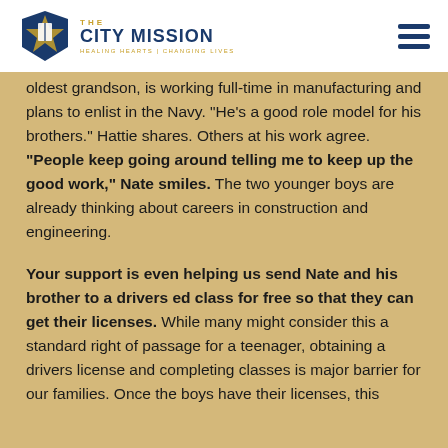THE CITY MISSION — HEALING HEARTS | CHANGING LIVES
oldest grandson, is working full-time in manufacturing and plans to enlist in the Navy. "He's a good role model for his brothers." Hattie shares. Others at his work agree. "People keep going around telling me to keep up the good work," Nate smiles. The two younger boys are already thinking about careers in construction and engineering.
Your support is even helping us send Nate and his brother to a drivers ed class for free so that they can get their licenses. While many might consider this a standard right of passage for a teenager, obtaining a drivers license and completing classes is major barrier for our families. Once the boys have their licenses, this